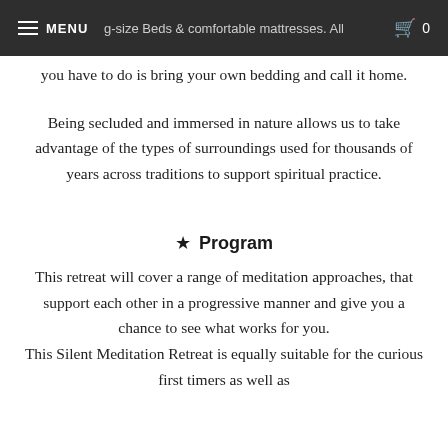MENU  [emoji: meditating figure]  g-size Beds & comfortable mattresses. All  0
g-size Beds & comfortable mattresses. All you have to do is bring your own bedding and call it home.
Being secluded and immersed in nature allows us to take advantage of the types of surroundings used for thousands of years across traditions to support spiritual practice.
★ Program
This retreat will cover a range of meditation approaches, that support each other in a progressive manner and give you a chance to see what works for you. This Silent Meditation Retreat is equally suitable for the curious first timers as well as